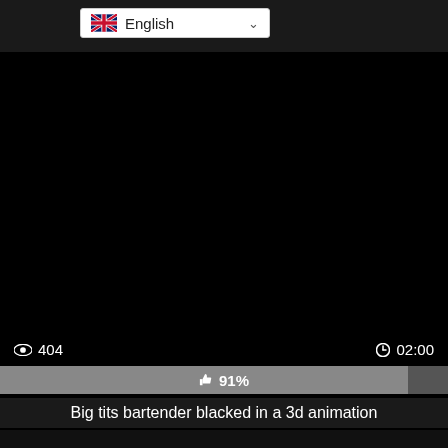[Figure (screenshot): Language selector dropdown showing UK flag and 'English' text with chevron, on dark website header]
[Figure (photo): Black video player area (video not loaded / black screen)]
👁 404   🕐 02:00
👍 91%
Big tits bartender blacked in a 3d animation